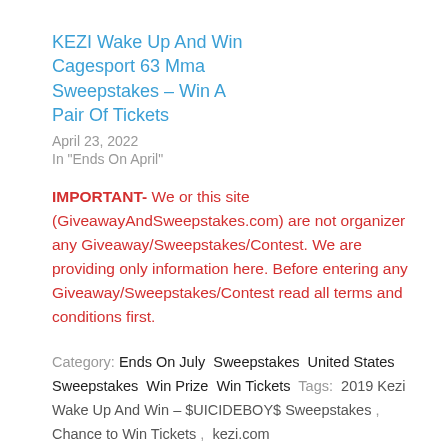KEZI Wake Up And Win Cagesport 63 Mma Sweepstakes – Win A Pair Of Tickets
April 23, 2022
In "Ends On April"
IMPORTANT- We or this site (GiveawayAndSweepstakes.com) are not organizer any Giveaway/Sweepstakes/Contest. We are providing only information here. Before entering any Giveaway/Sweepstakes/Contest read all terms and conditions first.
Category: Ends On July  Sweepstakes  United States Sweepstakes  Win Prize  Win Tickets  Tags:  2019 Kezi Wake Up And Win – $UICIDEBOY$ Sweepstakes ,  Chance to Win Tickets ,  kezi.com